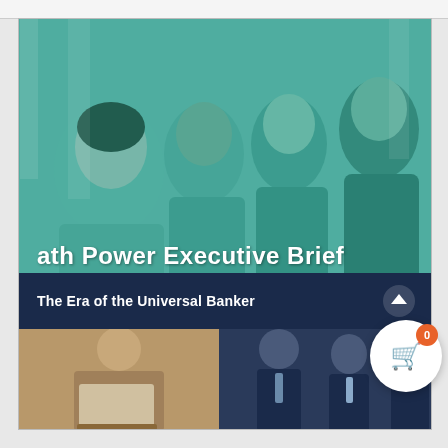[Figure (photo): Hero cover image of a group of smiling business professionals (2 women, 2 men) with a teal/green color overlay. Text overlaid reads 'ath Power Executive Brief' in large white bold font, and a dark navy banner below reads 'The Era of the Universal Banker'.]
ath Power Executive Brief
The Era of the Universal Banker
[Figure (photo): Bottom strip showing two partial photos: left side shows a business person holding a laptop/tablet (beige/tan tones), right side shows business professionals in suits (dark navy/blue tones).]